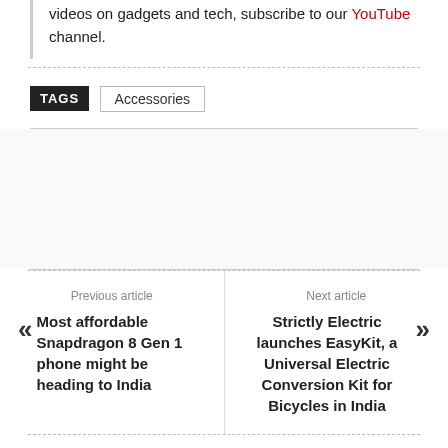videos on gadgets and tech, subscribe to our YouTube channel.
TAGS  Accessories
Previous article
« Most affordable Snapdragon 8 Gen 1 phone might be heading to India
Next article
Strictly Electric launches EasyKit, a Universal Electric Conversion Kit for Bicycles in India »